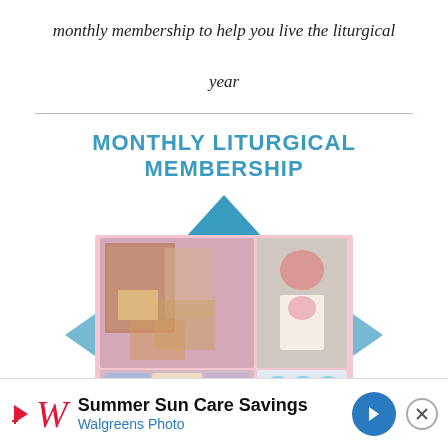monthly membership to help you live the liturgical year
MONTHLY LITURGICAL MEMBERSHIP
[Figure (photo): Collage of liturgical-themed crafts and printables displayed in a diamond/envelope shape with a pink background. Top left shows printed saint images and cards. Top right shows a Sacred Heart drawing and a heart-shaped craft. Bottom left shows illustrated saint booklets including 'My August Saint'. Bottom right shows circular cupcake toppers with saint illustrations.]
[Figure (infographic): Walgreens Summer Sun Care Savings advertisement banner at bottom of page with Walgreens logo, play button icon, navigation arrow, and close button.]